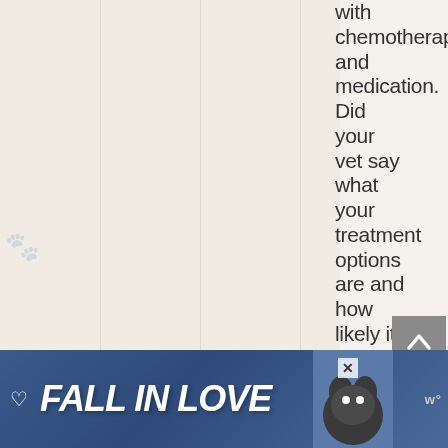with chemotherapy and medication. Did your vet say what your treatment options are and how likely it
[Figure (screenshot): Advertisement banner at the bottom reading FALL IN LOVE with a dog image and music streaming logo]